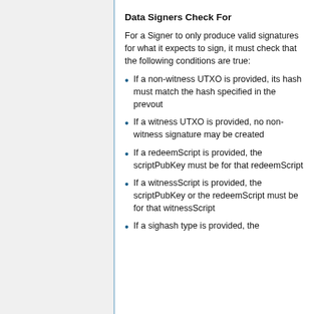Data Signers Check For
For a Signer to only produce valid signatures for what it expects to sign, it must check that the following conditions are true:
If a non-witness UTXO is provided, its hash must match the hash specified in the prevout
If a witness UTXO is provided, no non-witness signature may be created
If a redeemScript is provided, the scriptPubKey must be for that redeemScript
If a witnessScript is provided, the scriptPubKey or the redeemScript must be for that witnessScript
If a sighash type is provided, the signer must check that the sighash is...